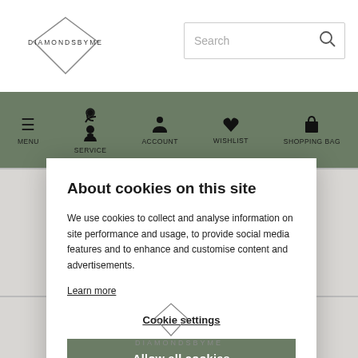[Figure (logo): DiamondsByMe logo — diamond shape outline with text DIAMONDSBYME]
[Figure (screenshot): Search bar with placeholder text 'Search' and search icon]
MENU  SERVICE  ACCOUNT  WISHLIST  SHOPPING BAG
About cookies on this site
We use cookies to collect and analyse information on site performance and usage, to provide social media features and to enhance and customise content and advertisements.
Learn more
Cookie settings
Allow all cookies
[Figure (logo): DiamondsByMe watermark logo at bottom of page]